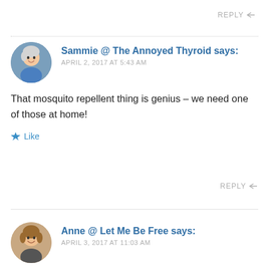REPLY
Sammie @ The Annoyed Thyroid says:
APRIL 2, 2017 AT 5:43 AM
That mosquito repellent thing is genius – we need one of those at home!
Like
REPLY
Anne @ Let Me Be Free says:
APRIL 3, 2017 AT 11:03 AM